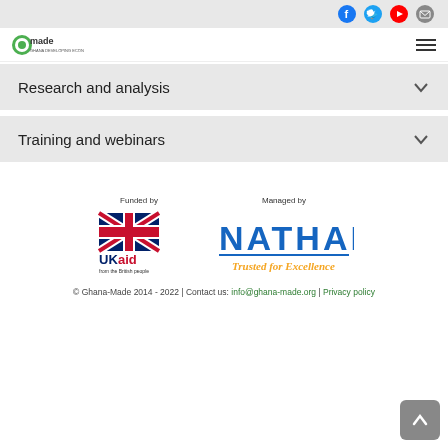Social media icons: Facebook, Twitter, YouTube, Email
[Figure (logo): Ghana-Made logo in top left navigation bar]
Research and analysis
Training and webinars
[Figure (logo): UK Aid logo - Funded by - from the British people]
[Figure (logo): Nathan logo - Managed by - Trusted for Excellence]
© Ghana-Made 2014 - 2022 | Contact us: info@ghana-made.org | Privacy policy